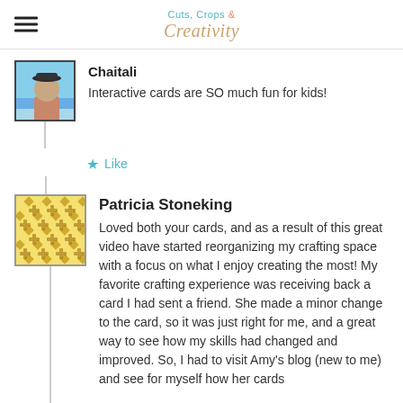Cuts, Crops & Creativity
Chaitali
Interactive cards are SO much fun for kids!
Like
Patricia Stoneking
Loved both your cards, and as a result of this great video have started reorganizing my crafting space with a focus on what I enjoy creating the most! My favorite crafting experience was receiving back a card I had sent a friend. She made a minor change to the card, so it was just right for me, and a great way to see how my skills had changed and improved. So, I had to visit Amy's blog (new to me) and see for myself how her cards